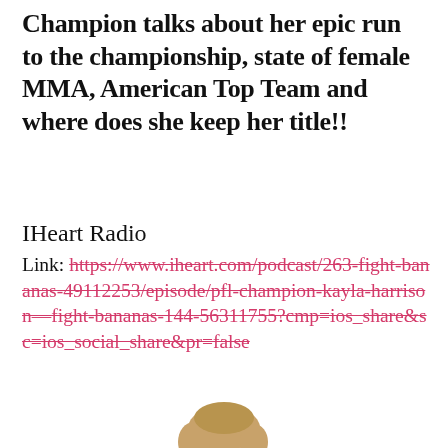Champion talks about her epic run to the championship, state of female MMA, American Top Team and where does she keep her title!!
IHeart Radio
Link: https://www.iheart.com/podcast/263-fight-bananas-49112253/episode/pfl-champion-kayla-harrison—fight-bananas-144-56311755?cmp=ios_share&sc=ios_social_share&pr=false
[Figure (photo): Woman with blonde hair wearing a red PFL tank top, standing in a fighter pose against a white background]